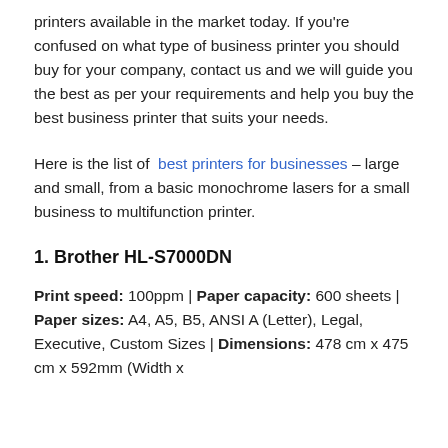printers available in the market today. If you're confused on what type of business printer you should buy for your company, contact us and we will guide you the best as per your requirements and help you buy the best business printer that suits your needs.
Here is the list of best printers for businesses – large and small, from a basic monochrome lasers for a small business to multifunction printer.
1. Brother HL-S7000DN
Print speed: 100ppm | Paper capacity: 600 sheets | Paper sizes: A4, A5, B5, ANSI A (Letter), Legal, Executive, Custom Sizes | Dimensions: 478 cm x 475 cm x 592mm (Width x